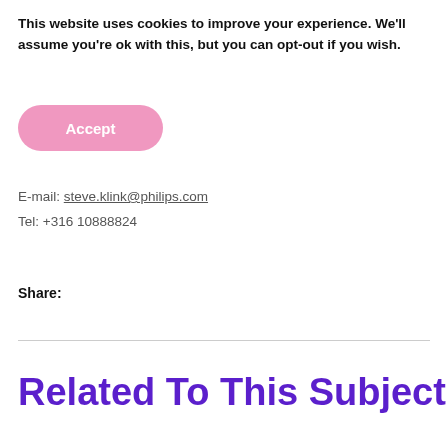This website uses cookies to improve your experience. We'll assume you're ok with this, but you can opt-out if you wish.
[Figure (other): Pink Accept button with rounded corners]
E-mail: steve.klink@philips.com
Tel: +316 10888824
Share:
Related To This Subject